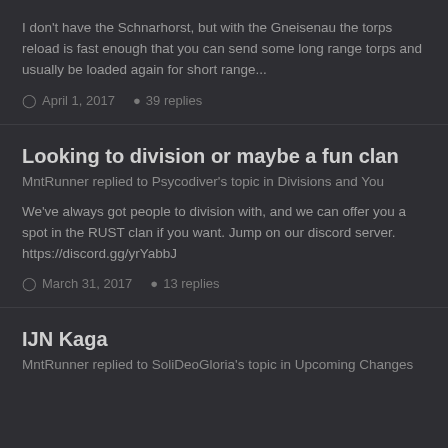I don't have the Schnarhorst, but with the Gneisenau the torps reload is fast enough that you can send some long range torps and usually be loaded again for short range...
April 1, 2017   39 replies
Looking to division or maybe a fun clan
MntRunner replied to Psycodiver's topic in Divisions and You
We've always got people to division with, and we can offer you a spot in the RUST clan if you want. Jump on our discord server. https://discord.gg/yrYabbJ
March 31, 2017   13 replies
IJN Kaga
MntRunner replied to SoliDeoGloria's topic in Upcoming Changes